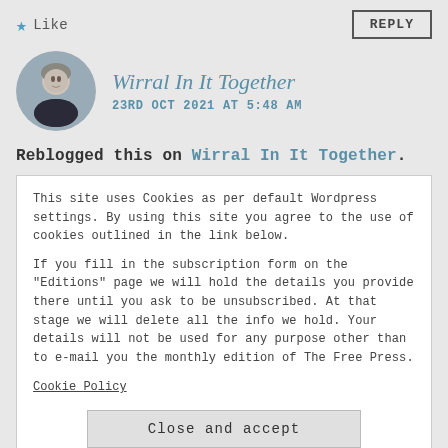★ Like
REPLY
[Figure (photo): Circular avatar photo of a middle-aged man with grey hair wearing a dark shirt, outdoors with greenery in background]
Wirral In It Together
23RD OCT 2021 AT 5:48 AM
Reblogged this on Wirral In It Together.
This site uses Cookies as per default Wordpress settings. By using this site you agree to the use of cookies outlined in the link below.

If you fill in the subscription form on the "Editions" page we will hold the details you provide there until you ask to be unsubscribed. At that stage we will delete all the info we hold. Your details will not be used for any purpose other than to e-mail you the monthly edition of The Free Press.
Cookie Policy
Close and accept
her own personal reaction to online abuse?